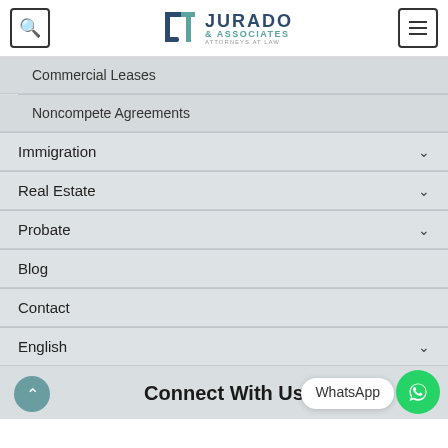[Figure (logo): Jurado & Associates Attorneys at Law logo with search and menu buttons in header]
Commercial Leases
Noncompete Agreements
Immigration
Real Estate
Probate
Blog
Contact
English
Connect With Us